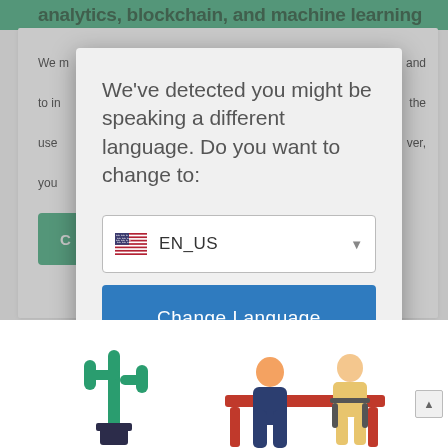analytics, blockchain, and machine learning
We [partially visible] and to in[partially visible] the use [partially visible] ver, you [partially visible]
[Figure (screenshot): Language selection modal dialog on a website. Background shows a white card with partial text about analytics, blockchain, and machine learning. A gray overlay covers the background. The modal contains: heading 'We've detected you might be speaking a different language. Do you want to change to:', a dropdown showing US flag and 'EN_US', a blue 'Change Language' button, and a link 'Close and do not switch language'.]
We've detected you might be speaking a different language. Do you want to change to:
EN_US
Change Language
Close and do not switch language